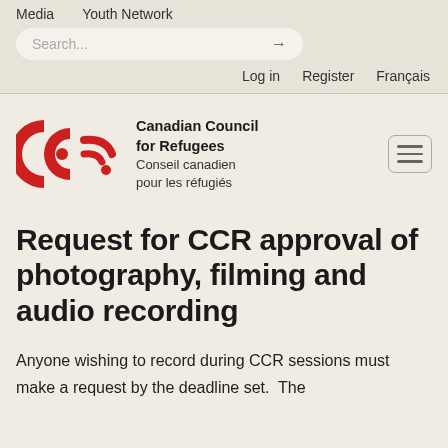Media   Youth Network
Search...
Log in   Register   Français
[Figure (logo): Canadian Council for Refugees (CCR) logo — two red C shapes and a red wifi-like symbol forming stylized letters, with bilingual text: Canadian Council for Refugees / Conseil canadien pour les réfugiés]
Request for CCR approval of photography, filming and audio recording
Anyone wishing to record during CCR sessions must make a request by the deadline set.  The